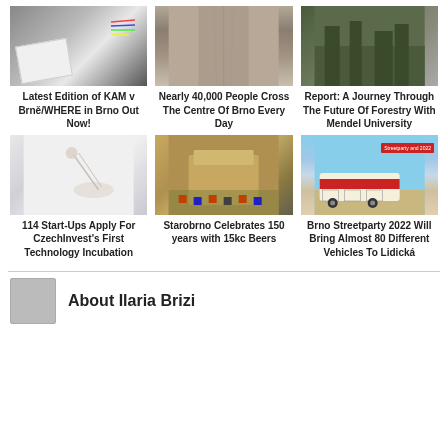[Figure (photo): Book/magazine open with colorful graphic design on pages, black and white background]
[Figure (photo): Street with tram tracks in Brno city centre, perspective view]
[Figure (photo): Forest scene, trees, Mendel University forestry related image]
Latest Edition of KAM v Brně/WHERE in Brno Out Now!
Nearly 40,000 People Cross The Centre Of Brno Every Day
Report: A Journey Through The Future Of Forestry With Mendel University
[Figure (photo): Hand pointing at or touching a translucent object, white background]
[Figure (photo): Aerial view of Starobrno brewery building surrounded by cars and greenery]
[Figure (photo): Vintage red and cream bus parked on road, clear sky background, badge overlay top right]
114 Start-Ups Apply For CzechInvest's First Technology Incubation
Starobrno Celebrates 150 years with 15kc Beers
Brno Streetparty 2022 Will Bring Almost 80 Different Vehicles To Lidická
About Ilaria Brizi